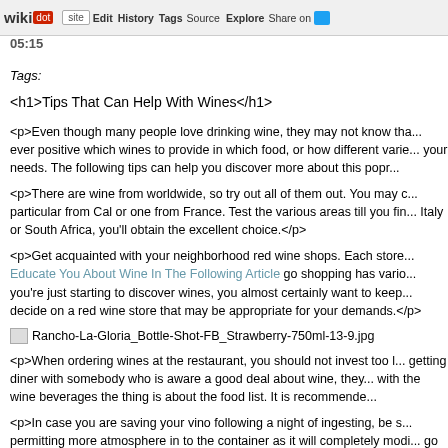wikidot | site Edit History Tags Source Explore Share on [twitter]
05:15
Tags:
<h1>Tips That Can Help With Wines</h1>
<p>Even though many people love drinking wine, they may not know tha... ever positive which wines to provide in which food, or how different varie... your needs. The following tips can help you discover more about this popr...
<p>There are wine from worldwide, so try out all of them out. You may c... particular from Cal or one from France. Test the various areas till you fin... Italy or South Africa, you'll obtain the excellent choice.</p>
<p>Get acquainted with your neighborhood red wine shops. Each store ... Educate You About Wine In The Following Article go shopping has vario... you're just starting to discover wines, you almost certainly want to keep... decide on a red wine store that may be appropriate for your demands.</p>
[Figure (photo): Broken image placeholder for Rancho-La-Gloria_Bottle-Shot-FB_Strawberry-750ml-13-9.jpg]
<p>When ordering wines at the restaurant, you should not invest too l... getting diner with somebody who is aware a good deal about wine, they... with the wine beverages the thing is about the food list. It is recommende...
<p>In case you are saving your vino following a night of ingesting, be s... permitting more atmosphere in to the container as it will completely modi... go rancid. Ensure What You Must Know About Enjoying Great Wine fits... disables atmosphere out.</p>